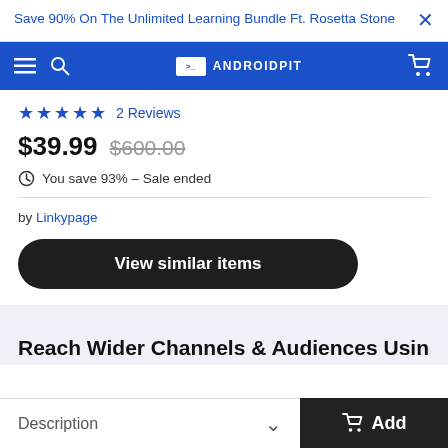Save 90% On The Unlimited Learning Bundle Ft. Rosetta Stone
[Figure (screenshot): AndroidPIT navigation bar with hamburger menu, search icon, logo, and cart icon]
★★★★★ 2 Reviews
$39.99  $600.00
⊙ You save 93% – Sale ended
by Linkypage
View similar items
Reach Wider Channels & Audiences Using
Description
Add